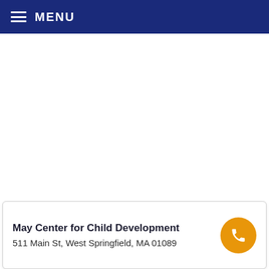MENU
May Center for Child Development
511 Main St, West Springfield, MA 01089